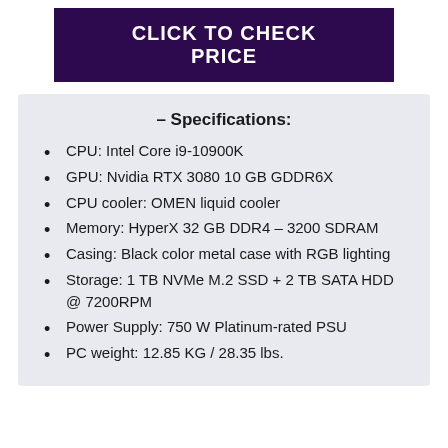CLICK TO CHECK PRICE
– Specifications:
CPU: Intel Core i9-10900K
GPU: Nvidia RTX 3080 10 GB GDDR6X
CPU cooler: OMEN liquid cooler
Memory: HyperX 32 GB DDR4 – 3200 SDRAM
Casing: Black color metal case with RGB lighting
Storage: 1 TB NVMe M.2 SSD + 2 TB SATA HDD @ 7200RPM
Power Supply: 750 W Platinum-rated PSU
PC weight: 12.85 KG / 28.35 lbs.